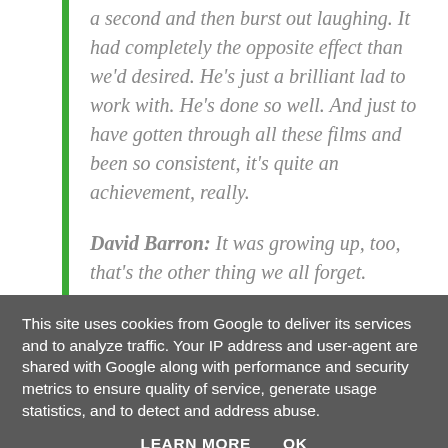a second and then burst out laughing. It had completely the opposite effect than we'd desired. He's just a brilliant lad to work with. He's done so well. And just to have gotten through all these films and been so consistent, it's quite an achievement, really.
David Barron: It was growing up, too, that's the other thing we all forget.
Helen McCrory: And it's also really nice to say it genuinely. So often we've made films and somebody's like, "What are they like to work
This site uses cookies from Google to deliver its services and to analyze traffic. Your IP address and user-agent are shared with Google along with performance and security metrics to ensure quality of service, generate usage statistics, and to detect and address abuse.
LEARN MORE   OK